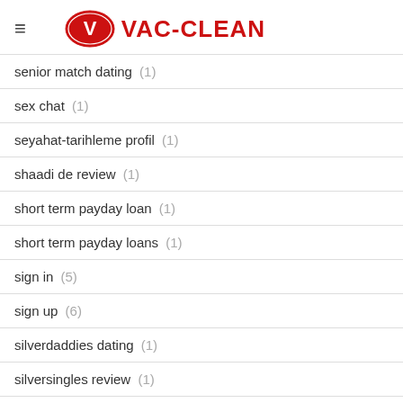VAC-CLEAN
senior match dating (1)
sex chat (1)
seyahat-tarihleme profil (1)
shaadi de review (1)
short term payday loan (1)
short term payday loans (1)
sign in (5)
sign up (6)
silverdaddies dating (1)
silversingles review (1)